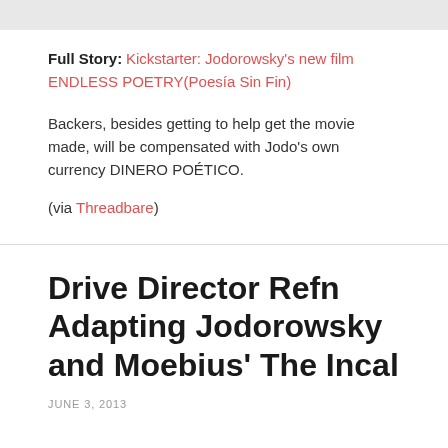Full Story: Kickstarter: Jodorowsky's new film ENDLESS POETRY(Poesía Sin Fin)
Backers, besides getting to help get the movie made, will be compensated with Jodo's own currency DINERO POÉTICO.
(via Threadbare)
Drive Director Refn Adapting Jodorowsky and Moebius' The Incal
JUNE 3, 2013